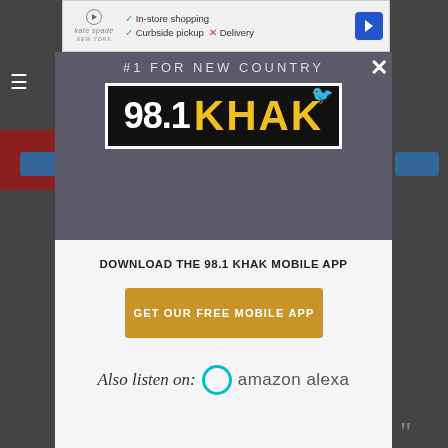[Figure (screenshot): Top advertisement banner for Kate Spade showing in-store shopping, curbside pickup, and delivery options]
[Figure (logo): 98.1 KHAK radio station modal popup. Dark gray top half with '#1 For New Country' subtitle and 98.1 KHAK logo in black box with white/yellow text. White bottom half with download CTA and Amazon Alexa mention.]
DOWNLOAD THE 98.1 KHAK MOBILE APP
GET OUR FREE MOBILE APP
Also listen on:  amazon alexa
[Figure (screenshot): Bottom advertisement banner for Kate Spade showing in-store shopping, curbside pickup, and delivery options]